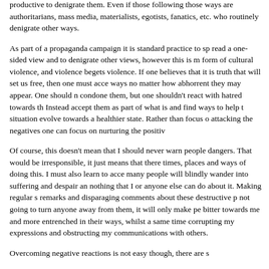productive to denigrate them. Even if those following those ways are authoritarians, mass media, materialists, egotists, fanatics, etc. who routinely denigrate other ways.
As part of a propaganda campaign it is standard practice to spread a one-sided view and to denigrate other views, however this is merely a form of cultural violence, and violence begets violence. If one believes that it is truth that will set us free, then one must accept all ways no matter how abhorrent they may appear. One should not condone them, but one shouldn't react with hatred towards them. Instead accept them as part of what is and find ways to help the situation evolve towards a healthier state. Rather than focus on attacking the negatives one can focus on nurturing the positives.
Of course, this doesn't mean that I should never warn people of dangers. That would be irresponsible, it just means that there are times, places and ways of doing this. I must also learn to accept that many people will blindly wander into suffering and despair and there is nothing that I or anyone else can do about it. Making regular snide remarks and disparaging comments about these destructive paths is not going to turn anyone away from them, it will only make people bitter towards me and more entrenched in their ways, whilst at the same time corrupting my expressions and obstructing my communications with others.
Overcoming negative reactions is not easy though, there are s...